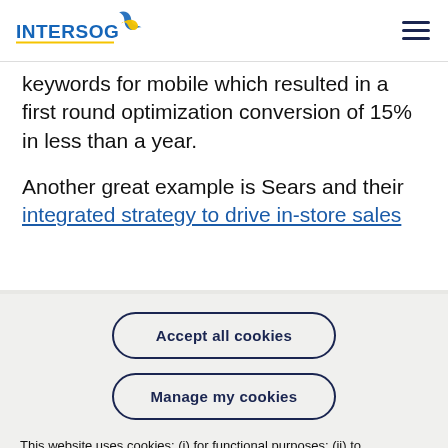INTERSOG logo and navigation
keywords for mobile which resulted in a first round optimization conversion of 15% in less than a year.
Another great example is Sears and their integrated strategy to drive in-store sales
Accept all cookies
Manage my cookies
This website uses cookies: (i) for functional purposes; (ii) to understand how you interact with this website; (iii) to provide personalized ads. To learn more, see our Privacy Policy.